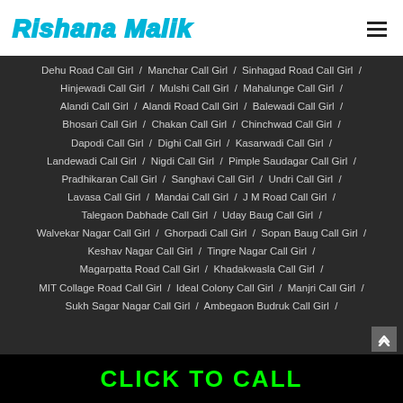Rishana Malik
Dehu Road Call Girl / Manchar Call Girl / Sinhagad Road Call Girl /
Hinjewadi Call Girl / Mulshi Call Girl / Mahalunge Call Girl /
Alandi Call Girl / Alandi Road Call Girl / Balewadi Call Girl /
Bhosari Call Girl / Chakan Call Girl / Chinchwad Call Girl /
Dapodi Call Girl / Dighi Call Girl / Kasarwadi Call Girl /
Landewadi Call Girl / Nigdi Call Girl / Pimple Saudagar Call Girl /
Pradhikaran Call Girl / Sanghavi Call Girl / Undri Call Girl /
Lavasa Call Girl / Mandai Call Girl / J M Road Call Girl /
Talegaon Dabhade Call Girl / Uday Baug Call Girl /
Walvekar Nagar Call Girl / Ghorpadi Call Girl / Sopan Baug Call Girl /
Keshav Nagar Call Girl / Tingre Nagar Call Girl /
Magarpatta Road Call Girl / Khadakwasla Call Girl /
MIT Collage Road Call Girl / Ideal Colony Call Girl / Manjri Call Girl /
Sukh Sagar Nagar Call Girl / Ambegaon Budruk Call Girl /
CLICK TO CALL